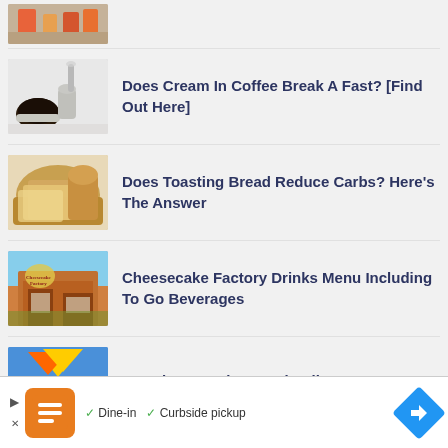[Figure (photo): Partial view of a food/snack tray with vegetables and dips, cropped at top]
[Figure (photo): Coffee cups with cream being poured]
Does Cream In Coffee Break A Fast? [Find Out Here]
[Figure (photo): Sliced bread in a basket]
Does Toasting Bread Reduce Carbs? Here's The Answer
[Figure (photo): Cheesecake Factory restaurant exterior]
Cheesecake Factory Drinks Menu Including To Go Beverages
[Figure (photo): Sonic Drive-In restaurant exterior]
See The Complete Sonic Allergen Menu
[Figure (screenshot): Advertisement banner with orange icon, play/close buttons, dine-in curbside pickup text, and blue arrow navigation button]